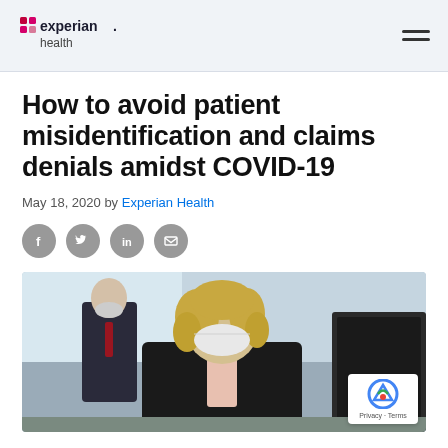Experian Health
How to avoid patient misidentification and claims denials amidst COVID-19
May 18, 2020 by Experian Health
[Figure (infographic): Social sharing icons: Facebook, Twitter, LinkedIn, Email]
[Figure (photo): A woman with curly blonde hair wearing a white face mask and black jacket sits at a computer. In the background a man in a suit also wearing a mask is visible.]